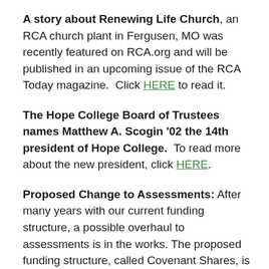A story about Renewing Life Church, an RCA church plant in Fergusen, MO was recently featured on RCA.org and will be published in an upcoming issue of the RCA Today magazine.  Click HERE to read it.
The Hope College Board of Trustees names Matthew A. Scogin '02 the 14th president of Hope College.  To read more about the new president, click HERE.
Proposed Change to Assessments: After many years with our current funding structure, a possible overhaul to assessments is in the works. The proposed funding structure, called Covenant Shares, is based on contributions rather than membership